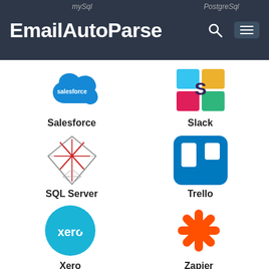MySql | PostgreSql
[Figure (logo): EmailAutoParse navigation bar with search and menu icons]
[Figure (logo): Salesforce cloud logo in blue]
Salesforce
[Figure (logo): Slack colorful S logo]
Slack
[Figure (logo): SQL Server diamond/prism logo in red and gray]
SQL Server
[Figure (logo): Trello blue square with two white card columns]
Trello
[Figure (logo): Xero teal circle with xero text in white]
Xero
[Figure (logo): Zapier orange asterisk/snowflake logo]
Zapier
[Figure (logo): Partial logo at bottom left - teal bird/shape]
[Figure (logo): Partial logo at bottom right - colorful partial]